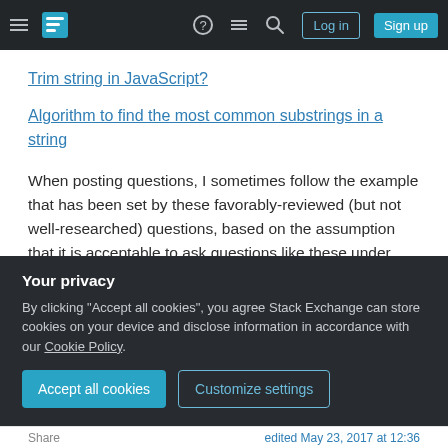Stack Exchange navigation bar with hamburger menu, logo, help, chat, search icons, Log in and Sign up buttons
Trim string in JavaScript?
Algorithm to find the most common substrings in a string
When posting questions, I sometimes follow the example that has been set by these favorably-reviewed (but not well-researched) questions, based on the assumption that it is acceptable to ask questions like these under some circumstances. Is it now forbidden to ask questions similar to these.
Your privacy
By clicking "Accept all cookies", you agree Stack Exchange can store cookies on your device and disclose information in accordance with our Cookie Policy.
Accept all cookies   Customize settings
Share   edited May 23, 2017 at 12:36